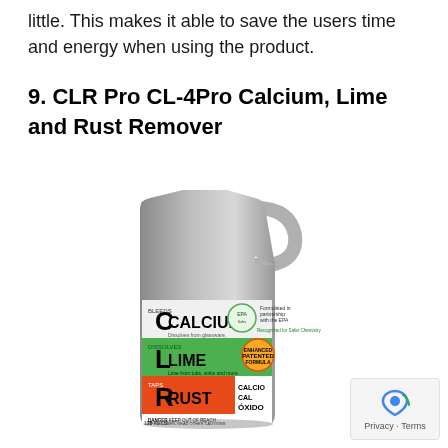little. This makes it able to save the users time and energy when using the product.
9. CLR Pro CL-4Pro Calcium, Lime and Rust Remover
[Figure (photo): A large silver jug/gallon container of CLR Pro CL-4Pro Calcium, Lime and Rust Remover. The label shows the letters C, L, R with CALCIUM, LIME, and RUST, plus CALCIO / CAL / OXIDO text, 128 FL OZ, EPA partnership logo, and DANGER warning text at the bottom.]
Privacy · Terms